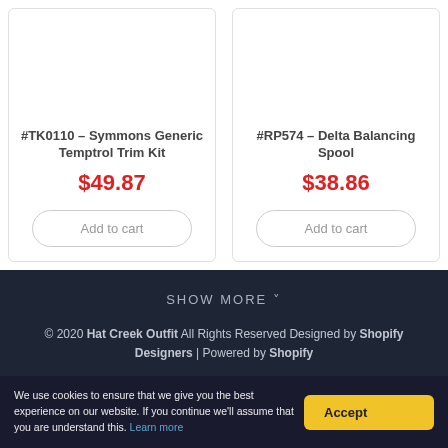#TK0110 - Symmons Generic Temptrol Trim Kit
$49.87
Add to cart
#RP574 - Delta Balancing Spool
$38.86
Add to cart
SHOW MORE ˅
© 2020 Hat Creek Outfit All Rights Reserved Designed by Shopify Designers | Powered by Shopify
We use cookies to ensure that we give you the best experience on our website. If you continue we'll assume that you are understand this. Learn more